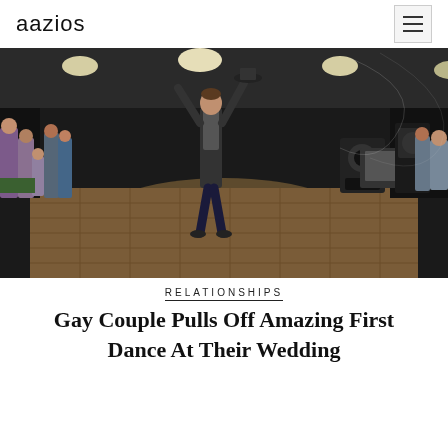aazios
[Figure (photo): Wedding reception scene at night under a tent. A dancer (likely one of the grooms) strikes a dramatic pose with arms raised on a dance floor, surrounded by wedding guests watching and applauding. DJ equipment and speakers visible in the background.]
RELATIONSHIPS
Gay Couple Pulls Off Amazing First Dance At Their Wedding